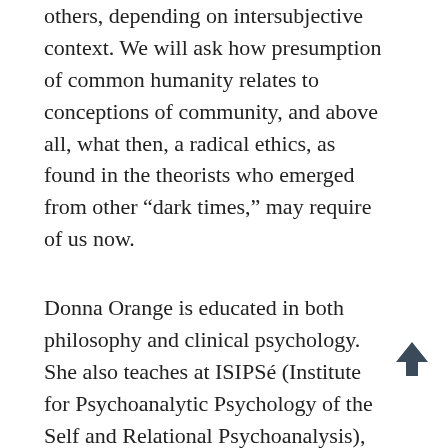others, depending on intersubjective context. We will ask how presumption of common humanity relates to conceptions of community, and above all, what then, a radical ethics, as found in the theorists who emerged from other “dark times,” may require of us now.
Donna Orange is educated in both philosophy and clinical psychology. She also teaches at ISIPSé (Institute for Psychoanalytic Psychology of the Self and Relational Psychoanalysis), Milano and Roma. In New York, she teaches and supervises at IPSS, the Institute for the Psychoanalytic Study of Subjectivity. She runs study groups